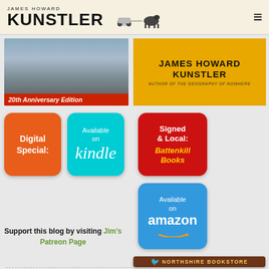JAMES HOWARD KUNSTLER
[Figure (photo): Book cover showing street scene with text '20th Anniversary Edition']
[Figure (illustration): Yellow banner with JAMES HOWARD KUNSTLER AUTHOR OF THE GEOGRAPHY OF NOWHERE]
[Figure (other): Orange button: Digital Special:]
[Figure (other): Cyan button: Available on kindle]
[Figure (other): Red button: Signed & Local: Battenkill Books]
[Figure (other): Blue button: Available on amazon]
[Figure (other): Dark brown banner: NORTHSHIRE BOOKSTORE]
Support this blog by visiting Jim's Patreon Page